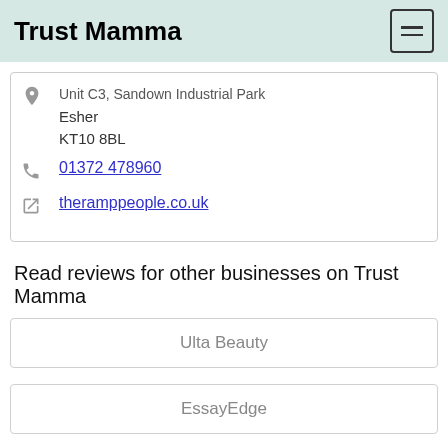Trust Mamma
Unit C3, Sandown Industrial Park
Esher
KT10 8BL
01372 478960
theramppeople.co.uk
Read reviews for other businesses on Trust Mamma
Ulta Beauty
EssayEdge
Stein Mart
GlowHost
Zenmed